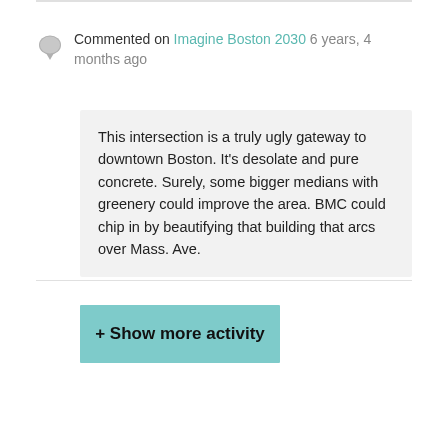Commented on Imagine Boston 2030  6 years, 4 months ago
This intersection is a truly ugly gateway to downtown Boston. It's desolate and pure concrete. Surely, some bigger medians with greenery could improve the area. BMC could chip in by beautifying that building that arcs over Mass. Ave.
+ Show more activity